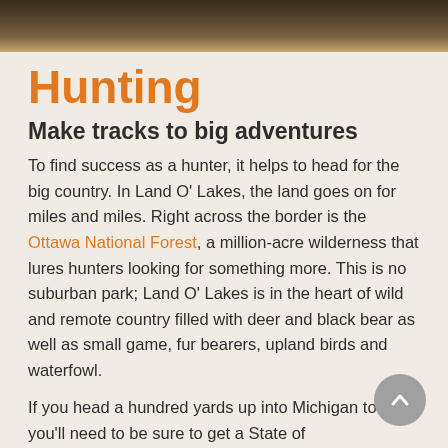[Figure (photo): Outdoor/forest scene photo strip at top of page]
Hunting
Make tracks to big adventures
To find success as a hunter, it helps to head for the big country. In Land O' Lakes, the land goes on for miles and miles. Right across the border is the Ottawa National Forest, a million-acre wilderness that lures hunters looking for something more. This is no suburban park; Land O' Lakes is in the heart of wild and remote country filled with deer and black bear as well as small game, fur bearers, upland birds and waterfowl.
If you head a hundred yards up into Michigan to hunt, you'll need to be sure to get a State of